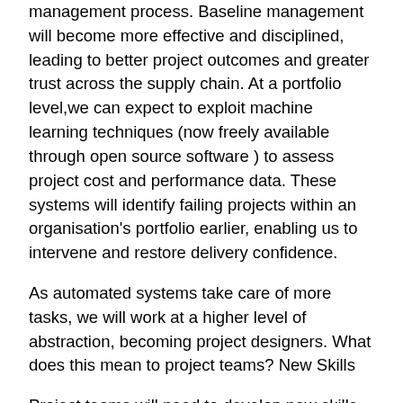management process. Baseline management will become more effective and disciplined, leading to better project outcomes and greater trust across the supply chain. At a portfolio level,we can expect to exploit machine learning techniques (now freely available through open source software ) to assess project cost and performance data. These systems will identify failing projects within an organisation's portfolio earlier, enabling us to intervene and restore delivery confidence.
As automated systems take care of more tasks, we will work at a higher level of abstraction, becoming project designers. What does this mean to project teams? New Skills
Project teams will need to develop new skills and learn to work with AI technologies effectively: not only designing them, but governing them too.
A new generation of project control specialists will take on